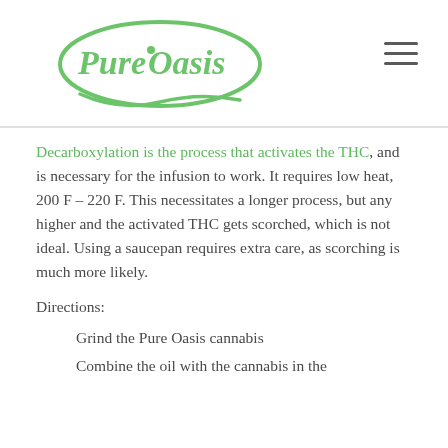PureOasis logo and navigation
Decarboxylation is the process that activates the THC, and is necessary for the infusion to work. It requires low heat, 200 F – 220 F. This necessitates a longer process, but any higher and the activated THC gets scorched, which is not ideal. Using a saucepan requires extra care, as scorching is much more likely.
Directions:
Grind the Pure Oasis cannabis
Combine the oil with the cannabis in the